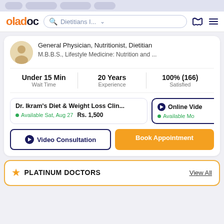[Figure (screenshot): Oladoc mobile app navigation bar with logo, search field showing 'Dietitians I...', phone icon, and hamburger menu]
General Physician, Nutritionist, Dietitian
M.B.B.S., Lifestyle Medicine: Nutrition and ...
Under 15 Min
Wait Time
20 Years
Experience
100% (166)
Satisfied
Dr. Ikram's Diet & Weight Loss Clin...
Available Sat, Aug 27    Rs. 1,500
Online Vide
Available Mo
Video Consultation
Book Appointment
PLATINUM DOCTORS
View All